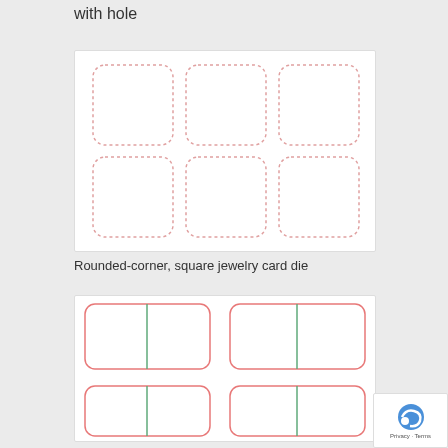with hole
[Figure (illustration): Six rounded-corner square cards arranged in a 3x2 grid with dotted borders on a white background]
Rounded-corner, square jewelry card die
[Figure (illustration): Rounded-corner rectangular cards arranged in a grid with green dividing lines on a white background]